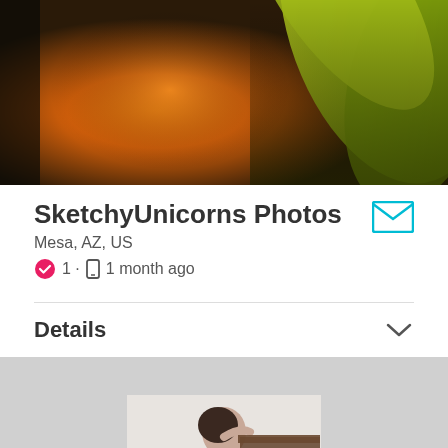[Figure (photo): Banner photo showing a close-up of a sunflower with orange center and yellow-green petals on dark background]
SketchyUnicorns Photos
Mesa, AZ, US
1 · 1 month ago
Details
[Figure (photo): Black and white portrait photo of a woman posing with her head tilted back, partially visible, against a light background with a dark wooden furniture piece]